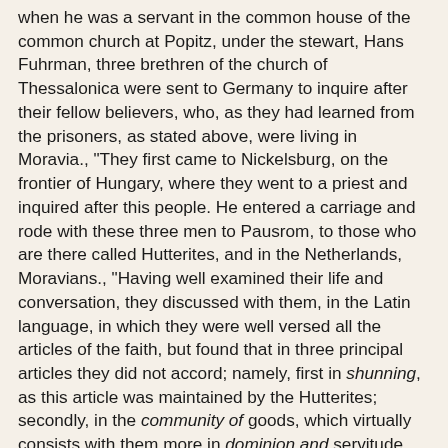when he was a servant in the common house of the common church at Popitz, under the stewart, Hans Fuhrman, three brethren of the church of Thessalonica were sent to Germany to inquire after their fellow believers, who, as they had learned from the prisoners, as stated above, were living in Moravia., "They first came to Nickelsburg, on the frontier of Hungary, where they went to a priest and inquired after this people. He entered a carriage and rode with these three men to Pausrom, to those who are there called Hutterites, and in the Netherlands, Moravians., "Having well examined their life and conversation, they discussed with them, in the Latin language, in which they were well versed all the articles of the faith, but found that in three principal articles they did not accord; namely, first in shunning, as this article was maintained by the Hutterites; secondly, in the community of goods, which virtually consists with them more in dominion and servitude, than in equality; thirdly, that they withhold from those who fall away from their communion and leave them the property which they brought in, on account of which these three men parted from them with tears in their eyes, because they had performed such a difficult and laborious journey in vain., "The same priest then brought them in same place (Pausrom), to the Schwitzer church, who derive their name from Hans Schwitzer, who, through one of their brethren, named John Peck (who, with Hans Fuhrman